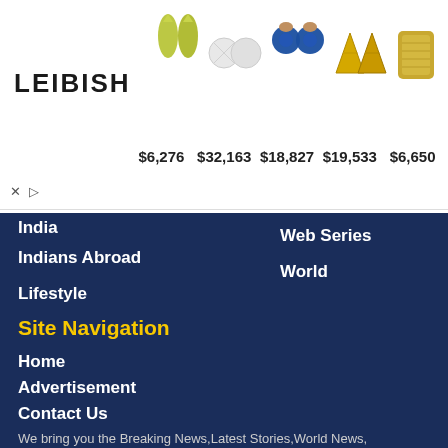[Figure (photo): LEIBISH jewelry advertisement banner showing gemstone pairs and earrings with prices: $6,276, $32,163, $18,827, $19,533, $6,650]
India
Indians Abroad
Lifestyle
Web Series
World
Site Navigation
Home
Advertisement
Contact Us
Privacy & Policy
Other Links
We bring you the Breaking News,Latest Stories,World News,